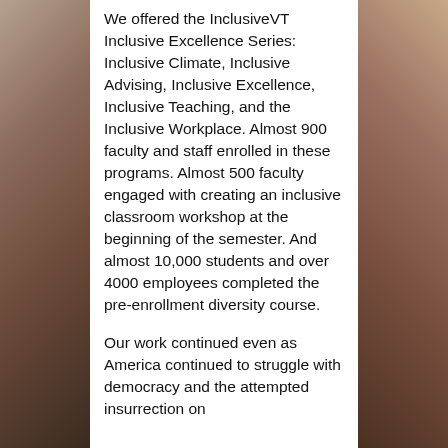We offered the InclusiveVT Inclusive Excellence Series: Inclusive Climate, Inclusive Advising, Inclusive Excellence, Inclusive Teaching, and the Inclusive Workplace. Almost 900 faculty and staff enrolled in these programs. Almost 500 faculty engaged with creating an inclusive classroom workshop at the beginning of the semester. And almost 10,000 students and over 4000 employees completed the pre-enrollment diversity course.
Our work continued even as America continued to struggle with democracy and the attempted insurrection on